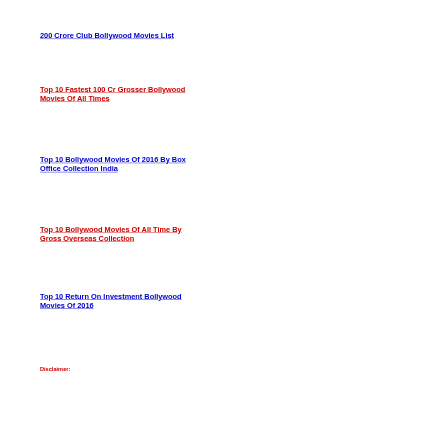200 Crore Club Bollywood Movies List
Top 10 Fastest 100 Cr Grosser Bollywood Movies Of All Times
Top 10 Bollywood Movies Of 2016 By Box Office Collection India
Top 10 Bollywood Movies Of All Time By Gross Overseas Collection
Top 10 Return On Investment Bollywood Movies Of 2016
Disclaimer: